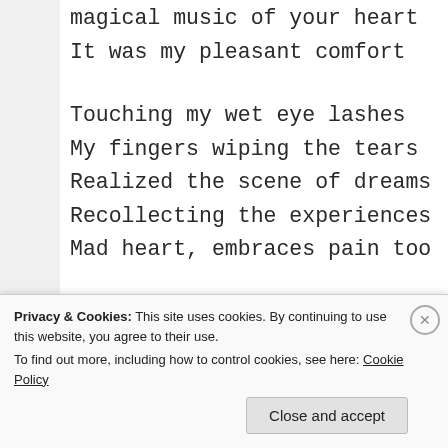magical music of your heart
It was my pleasant comfort

Touching my wet eye lashes
My fingers wiping the tears
Realized the scene of dreams
Recollecting the experiences
Mad heart, embraces pain too

Life is a cell with mixed
Privacy & Cookies: This site uses cookies. By continuing to use this website, you agree to their use.
To find out more, including how to control cookies, see here: Cookie Policy